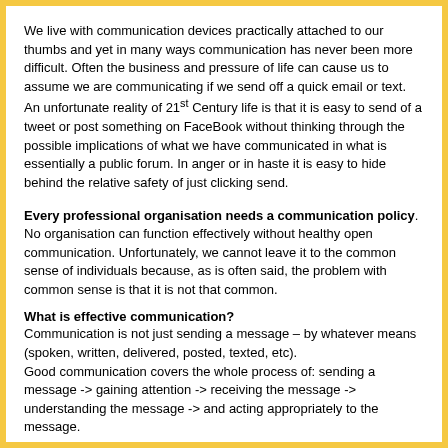We live with communication devices practically attached to our thumbs and yet in many ways communication has never been more difficult. Often the business and pressure of life can cause us to assume we are communicating if we send off a quick email or text. An unfortunate reality of 21st Century life is that it is easy to send of a tweet or post something on FaceBook without thinking through the possible implications of what we have communicated in what is essentially a public forum. In anger or in haste it is easy to hide behind the relative safety of just clicking send.
Every professional organisation needs a communication policy. No organisation can function effectively without healthy open communication. Unfortunately, we cannot leave it to the common sense of individuals because, as is often said, the problem with common sense is that it is not that common.
What is effective communication?
Communication is not just sending a message – by whatever means (spoken, written, delivered, posted, texted, etc). Good communication covers the whole process of: sending a message -> gaining attention -> receiving the message -> understanding the message -> and acting appropriately to the message.
Who is responsible for effective communication?
The person trying to communicate is responsible. Obviously the hearer/receiver of communication shares some responsibility but the primary